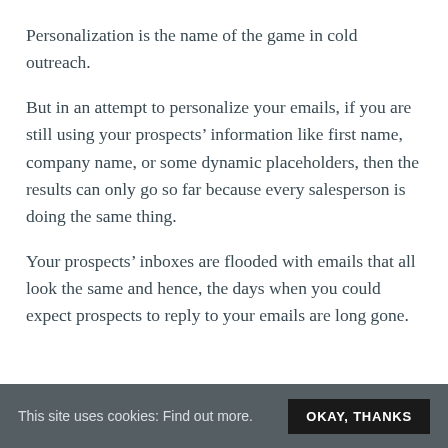Personalization is the name of the game in cold outreach.
But in an attempt to personalize your emails, if you are still using your prospects’ information like first name, company name, or some dynamic placeholders, then the results can only go so far because every salesperson is doing the same thing.
Your prospects’ inboxes are flooded with emails that all look the same and hence, the days when you could expect prospects to reply to your emails are long gone.
This site uses cookies: Find out more.  OKAY, THANKS